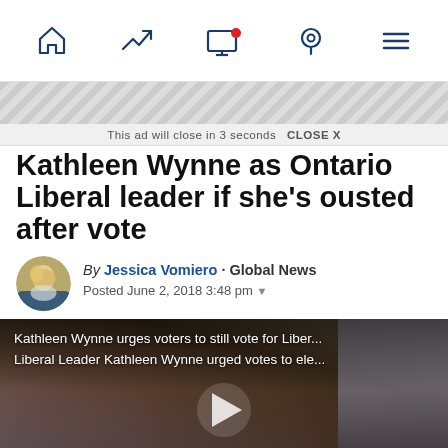Navigation bar with home, trending, screen, location, and menu icons
[Figure (other): Ad banner placeholder with diagonal stripe pattern]
This ad will close in 3 seconds   CLOSE X
Kathleen Wynne as Ontario Liberal leader if she's ousted after vote
By Jessica Vomiero · Global News
Posted June 2, 2018 3:48 pm
[Figure (photo): Video thumbnail showing Kathleen Wynne. Caption reads: Kathleen Wynne urges voters to still vote for Liber... Liberal Leader Kathleen Wynne urged votes to ele...]